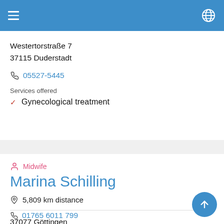Westertorstraße 7
37115 Duderstadt
05527-5445
Services offered
Gynecological treatment
Midwife
Marina Schilling
5,809 km distance
37077 Göttingen
01765 6011 799